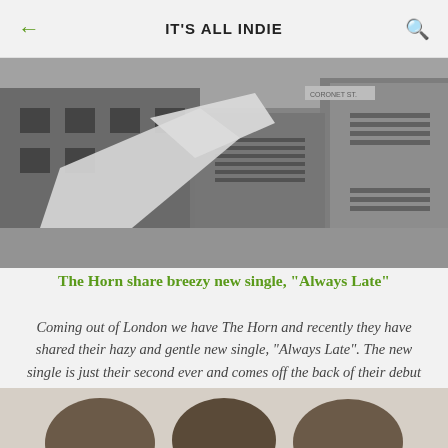IT'S ALL INDIE
[Figure (photo): Black and white street photograph showing urban buildings with metal structures in the foreground, taken in London]
The Horn share breezy new single, "Always Late"
Coming out of London we have The Horn and recently they have shared their hazy and gentle new single, "Always Late". The new single is just their second ever and comes off the back of their debut single "Passion" which has 30k plays at the time of writ...
[Figure (photo): Photo of a group of people (band members) posing together indoors against a light backdrop]